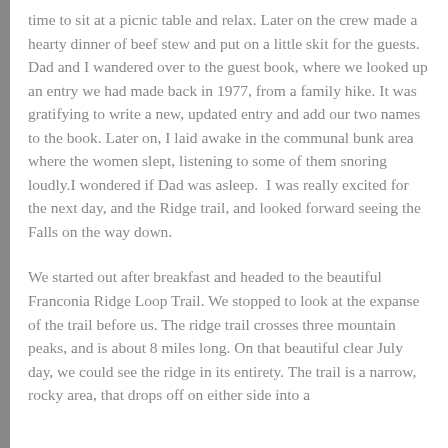time to sit at a picnic table and relax. Later on the crew made a hearty dinner of beef stew and put on a little skit for the guests. Dad and I wandered over to the guest book, where we looked up an entry we had made back in 1977, from a family hike. It was gratifying to write a new, updated entry and add our two names to the book. Later on, I laid awake in the communal bunk area where the women slept, listening to some of them snoring loudly.I wondered if Dad was asleep.  I was really excited for the next day, and the Ridge trail, and looked forward seeing the Falls on the way down.
We started out after breakfast and headed to the beautiful Franconia Ridge Loop Trail. We stopped to look at the expanse of the trail before us. The ridge trail crosses three mountain peaks, and is about 8 miles long. On that beautiful clear July day, we could see the ridge in its entirety. The trail is a narrow, rocky area, that drops off on either side into a